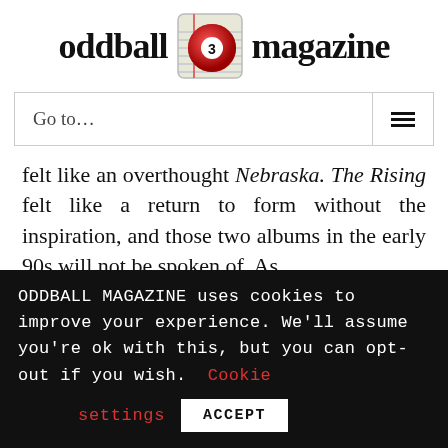[Figure (logo): Oddball Magazine logo with red billiard ball (number 3) on a notepad background, next to the text 'oddball magazine']
Go to...
felt like an overthought Nebraska. The Rising felt like a return to form without the inspiration, and those two albums in the early 90s will not be spoken of. As
ODDBALL MAGAZINE uses cookies to improve your experience. We'll assume you're ok with this, but you can opt-out if you wish. Cookie settings ACCEPT